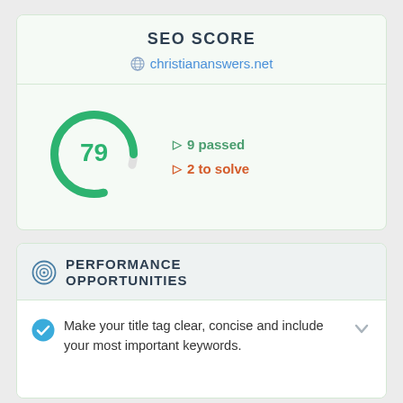SEO SCORE
christiananswers.net
[Figure (donut-chart): Circular gauge showing SEO score of 79]
9 passed
2 to solve
PERFORMANCE OPPORTUNITIES
Make your title tag clear, concise and include your most important keywords.